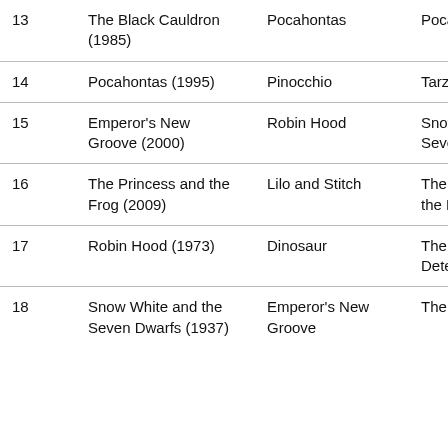| 13 | The Black Cauldron (1985) | Pocahontas | Pocahontas |
| 14 | Pocahontas (1995) | Pinocchio | Tarzan |
| 15 | Emperor's New Groove (2000) | Robin Hood | Snow White and the Seven Dwarfs |
| 16 | The Princess and the Frog (2009) | Lilo and Stitch | The Princess and the Frog |
| 17 | Robin Hood (1973) | Dinosaur | The Great Mouse Detective |
| 18 | Snow White and the Seven Dwarfs (1937) | Emperor's New Groove | The Black Cauldron |